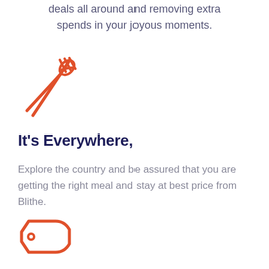deals all around and removing extra spends in your joyous moments.
[Figure (illustration): Red/orange outline icon of a crossed spoon and fork (utensils cross symbol)]
It's Everywhere,
Explore the country and be assured that you are getting the right meal and stay at best price from Blithe.
[Figure (illustration): Red/orange outline icon of a price tag (pentagon shape with small circle hole)]